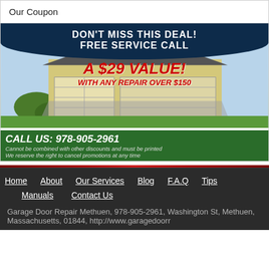Our Coupon
[Figure (infographic): Garage door repair coupon advertisement. Dark navy banner at top reads 'DON'T MISS THIS DEAL! FREE SERVICE CALL'. Middle shows 'A $29 VALUE!' in red italic and 'WITH ANY REPAIR OVER $150' in red italic over a photo of a house with garage doors. Bottom green bar shows 'CALL US: 978-905-2961' and fine print 'Cannot be combined with other discounts and must be printed / We reserve the right to cancel promotions at any time'.]
Home   About   Our Services   Blog   F.A.Q   Tips   Manuals   Contact Us
Garage Door Repair Methuen, 978-905-2961, Washington St, Methuen, Massachusetts, 01844, http://www.garagedoorr